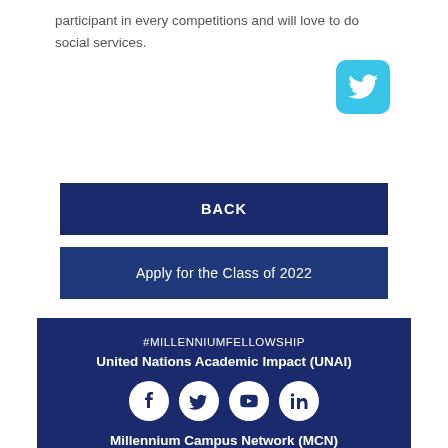participant in every competitions and will love to do social services.
[Figure (logo): Twitter bird icon in cyan/teal rounded square]
BACK
Apply for the Class of 2022
#MILLENNIUMFELLOWSHIP
United Nations Academic Impact (UNAI)
[Figure (other): Social media icons: Facebook, Twitter, YouTube, LinkedIn in white circles on dark blue background]
Millennium Campus Network (MCN)